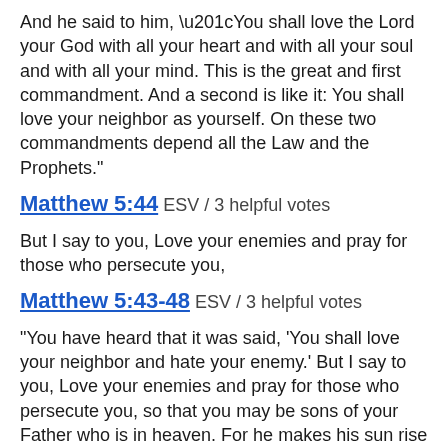And he said to him, “You shall love the Lord your God with all your heart and with all your soul and with all your mind. This is the great and first commandment. And a second is like it: You shall love your neighbor as yourself. On these two commandments depend all the Law and the Prophets.”
Matthew 5:44 ESV / 3 helpful votes
But I say to you, Love your enemies and pray for those who persecute you,
Matthew 5:43-48 ESV / 3 helpful votes
“You have heard that it was said, ‘You shall love your neighbor and hate your enemy.’ But I say to you, Love your enemies and pray for those who persecute you, so that you may be sons of your Father who is in heaven. For he makes his sun rise on the evil and on the good, and sends rain on the just and on the unjust. For if you love those who love you, what reward do you have? Do not even the tax collectors do the same? And if you greet only your brothers, what more are you doing than others? Do not even the Gentiles do the same?